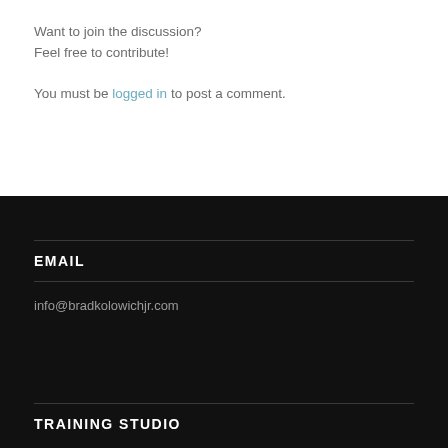Want to join the discussion?
Feel free to contribute!
You must be logged in to post a comment.
EMAIL
info@bradkolowichjr.com
TRAINING STUDIO